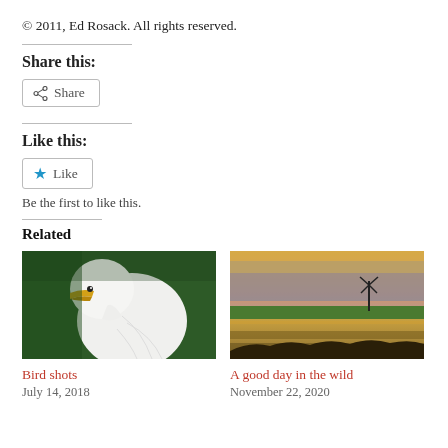© 2011, Ed Rosack. All rights reserved.
Share this:
Share
Like this:
Like
Be the first to like this.
Related
[Figure (photo): Close-up photograph of a white egret bird with a yellow beak against a green background]
Bird shots
July 14, 2018
[Figure (photo): Landscape photograph of a wetland/wild area at sunset with golden sky and silhouetted windmill]
A good day in the wild
November 22, 2020